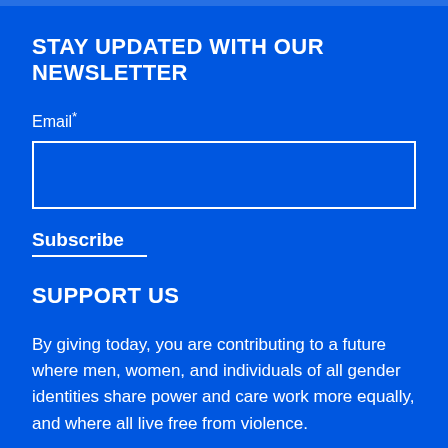STAY UPDATED WITH OUR NEWSLETTER
Email*
Subscribe
SUPPORT US
By giving today, you are contributing to a future where men, women, and individuals of all gender identities share power and care work more equally, and where all live free from violence.
Donate >